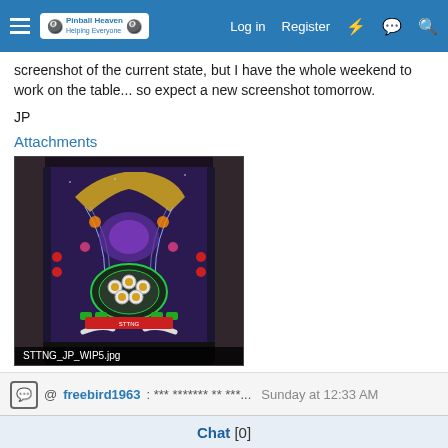Pinball Heaven forum navigation bar with hamburger menu, logo, Log in, Register, and icon links
screenshot of the current state, but I have the whole weekend to work on the table... so expect a new screenshot tomorrow.
JP
Attachments
[Figure (screenshot): Screenshot of a pinball table design (STTNG_JP_WIP5.jpg) showing a colorful Star Trek: The Next Generation virtual pinball table with ramps, bumpers, and playfield elements]
STTNG_JP_WIP5.jpg
@ freebird1963: *** ******* ** ***...  Sunday at 12:33 AM
Chat [0]